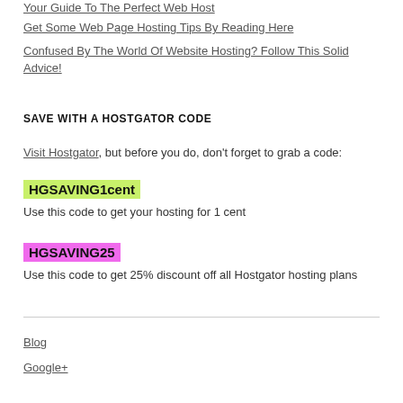Your Guide To The Perfect Web Host
Get Some Web Page Hosting Tips By Reading Here
Confused By The World Of Website Hosting? Follow This Solid Advice!
SAVE WITH A HOSTGATOR CODE
Visit Hostgator, but before you do, don't forget to grab a code:
HGSAVING1cent
Use this code to get your hosting for 1 cent
HGSAVING25
Use this code to get 25% discount off all Hostgator hosting plans
Blog
Google+